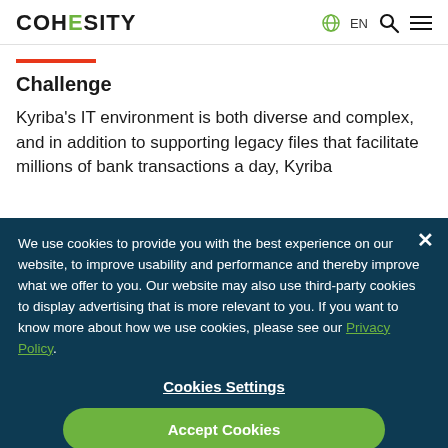COHESITY EN
Challenge
Kyriba’s IT environment is both diverse and complex, and in addition to supporting legacy files that facilitate millions of bank transactions a day, Kyriba
We use cookies to provide you with the best experience on our website, to improve usability and performance and thereby improve what we offer to you. Our website may also use third-party cookies to display advertising that is more relevant to you. If you want to know more about how we use cookies, please see our Privacy Policy.
Cookies Settings
Accept Cookies